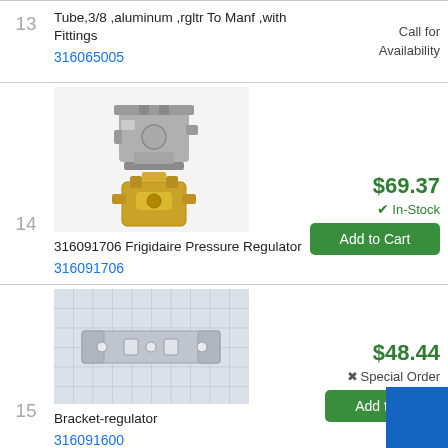13 — Tube,3/8 ,aluminum ,rgltr To Manf ,with Fittings — Part# 316065005 — Call for Availability
[Figure (photo): Two views of a Frigidaire pressure regulator part, showing metal valve components from different angles]
14 — 316091706 Frigidaire Pressure Regulator — Part# 316091706 — $69.37 — In-Stock
[Figure (photo): Metal bracket-regulator part on grid background]
15 — Bracket-regulator — Part# 316091600 — $48.44 — Special Order